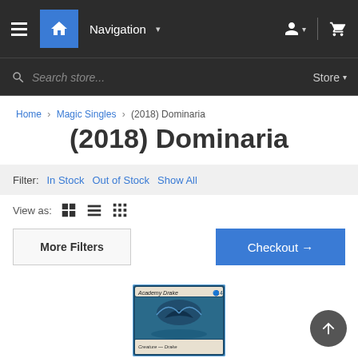Navigation | Store
Search store...
Home > Magic Singles > (2018) Dominaria
(2018) Dominaria
Filter: In Stock   Out of Stock   Show All
View as:
More Filters
Checkout →
[Figure (illustration): Magic: The Gathering card image for Academy Drake from (2018) Dominaria set, showing a blue drake creature flying over water.]